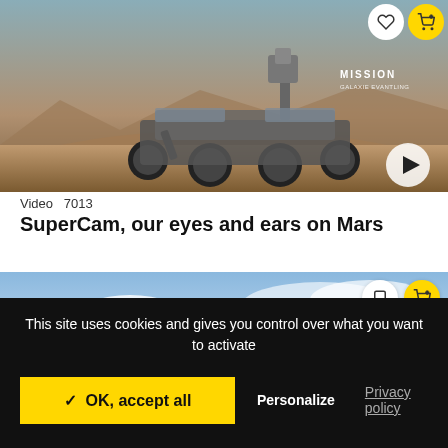[Figure (photo): Mars rover (Perseverance) on Martian surface with rocky terrain and hazy sky. MISSION label visible top right. White play button circle at bottom right.]
Video  7013
SuperCam, our eyes and ears on Mars
[Figure (photo): Partial view of a second video thumbnail showing blue sky with clouds.]
This site uses cookies and gives you control over what you want to activate